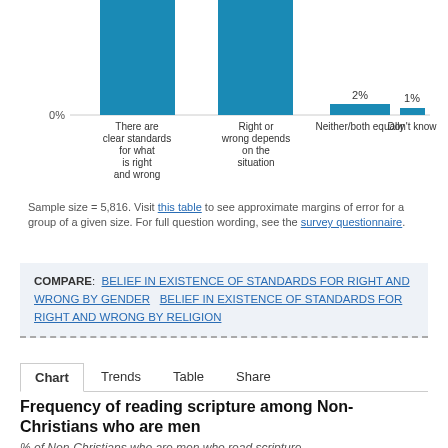[Figure (bar-chart): Belief in standards for right and wrong (partial)]
Sample size = 5,816. Visit this table to see approximate margins of error for a group of a given size. For full question wording, see the survey questionnaire.
COMPARE: BELIEF IN EXISTENCE OF STANDARDS FOR RIGHT AND WRONG BY GENDER  BELIEF IN EXISTENCE OF STANDARDS FOR RIGHT AND WRONG BY RELIGION
Chart  Trends  Table  Share
Frequency of reading scripture among Non-Christians who are men
% of Non-Christians who are men who read scripture